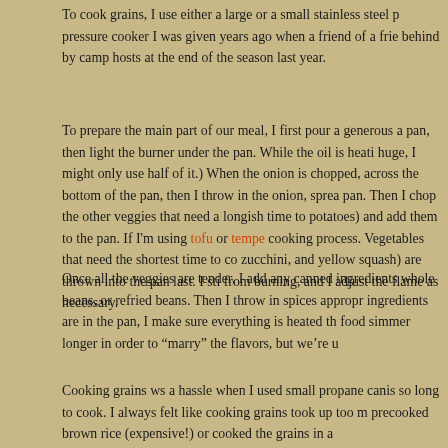To cook grains, I use either a large or a small stainless steel pressure cooker I was given years ago when a friend of a frie... behind by camp hosts at the end of the season last year.
To prepare the main part of our meal, I first pour a generous a... pan, then light the burner under the pan. While the oil is heati... huge, I might only use half of it.) When the onion is chopped, ... across the bottom of the pan, then I throw in the onion, sprea... pan. Then I chop the other veggies that need a longish time to... potatoes) and add them to the pan. If I'm using tofu or tempe... cooking process. Vegetables that need the shortest time to co... zucchini, and yellow squash) are thrown into the pan last. I sti... from burning, and I adjust the flame as necessary.
Once all the veggies are tender, I add any canned ingredients... whole beans, or refried beans. Then I throw in spices appropr... ingredients are in the pan, I make sure everything is heated th... food simmer longer in order to "marry" the flavors, but we're u...
Cooking grains ws a hassle when I used small propane canis... so long to cook. I always felt like cooking grains took up too m... precooked brown rice (expensive!) or cooked the grains in a...